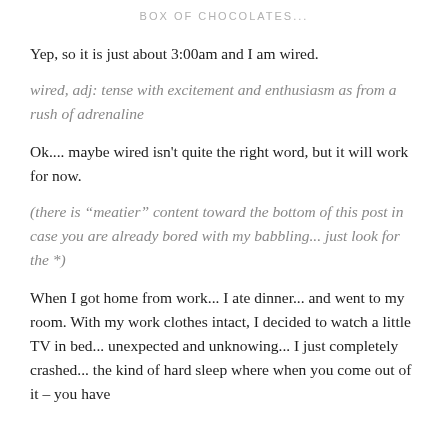BOX OF CHOCOLATES...
Yep, so it is just about 3:00am and I am wired.
wired, adj: tense with excitement and enthusiasm as from a rush of adrenaline
Ok.... maybe wired isn't quite the right word, but it will work for now.
(there is “meatier” content toward the bottom of this post in case you are already bored with my babbling... just look for the *)
When I got home from work... I ate dinner... and went to my room. With my work clothes intact, I decided to watch a little TV in bed... unexpected and unknowing... I just completely crashed... the kind of hard sleep where when you come out of it – you have